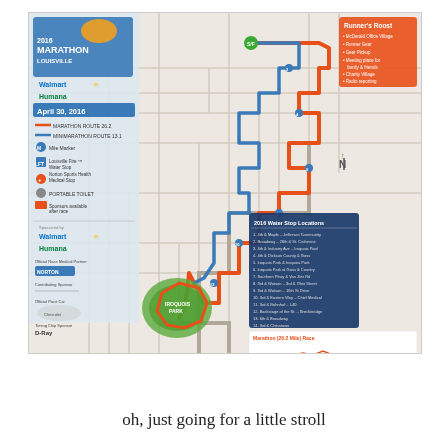[Figure (map): 2016 Louisville Marathon race map showing marathon route (26.2 miles in orange) and minimarathon route (13.1 miles in blue) through Louisville, KY streets. Includes legend with mile markers, water stops, medical stops, porta-potties, and sponsor booths. Features Walmart and Humana logos as sponsors, date April 30, 2016, elevation charts for both routes, and a water stop locations inset box. The course winds through city streets and includes a green circular section at the bottom labeled Iroquois Park.]
oh, just going for a little stroll